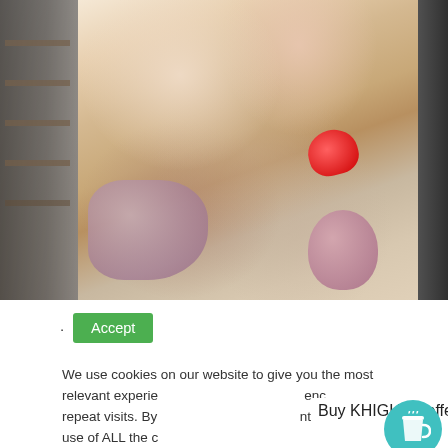[Figure (photo): A framed promotional poster of a K-pop girl group (appears to be TWICE) holding letter and heart balloons spelling ONCE, displayed on an illuminated stand inside what appears to be a store or office. The poster shows approximately 9 members posing together. The left side shows dark shelving units.]
· Accept
We use cookies on our website to give you the most relevant experie                                                         ence repeat visits. By                                                   at t use of ALL the c
Buy KHIGH a coffee!